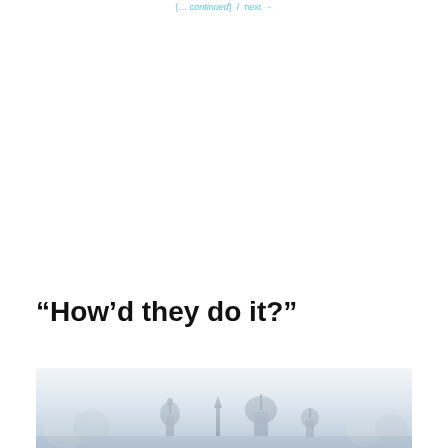(…continued) / next →
“How’d they do it?”
[Figure (photo): A faint, hazy photograph of a city skyline featuring domed structures and spires, likely a Russian city such as Moscow, rendered in muted blue-grey tones.]